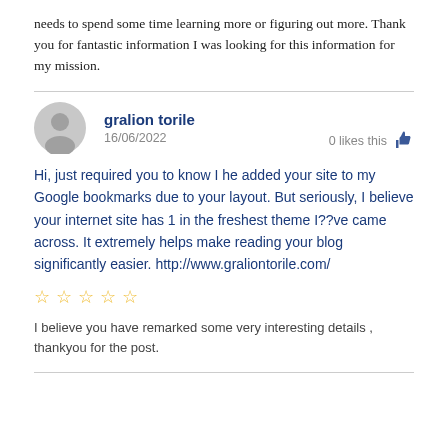needs to spend some time learning more or figuring out more. Thank you for fantastic information I was looking for this information for my mission.
gralion torile
16/06/2022
0 likes this
Hi, just required you to know I he added your site to my Google bookmarks due to your layout. But seriously, I believe your internet site has 1 in the freshest theme I??ve came across. It extremely helps make reading your blog significantly easier. http://www.graliontorile.com/
I believe you have remarked some very interesting details , thankyou for the post.